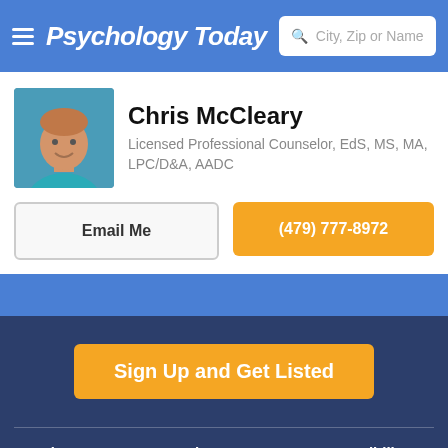Psychology Today | City, Zip or Name
Chris McCleary
Licensed Professional Counselor, EdS, MS, MA, LPC/D&A, AADC
Email Me
(479) 777-8972
Sign Up and Get Listed
About  Careers  Privacy  Terms  Accessibility  United States